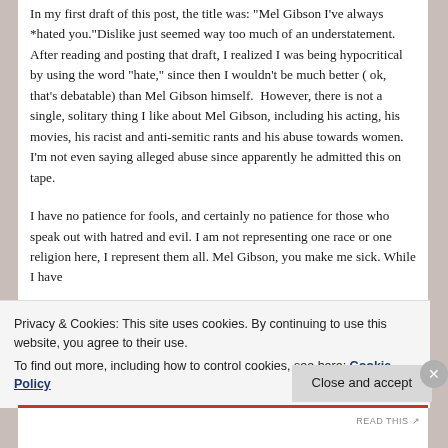In my first draft of this post, the title was: 'Mel Gibson I've always *hated you.' Dislike just seemed way too much of an understatement. After reading and posting that draft, I realized I was being hypocritical by using the word "hate," since then I wouldn't be much better ( ok, that's debatable) than Mel Gibson himself.  However, there is not a single, solitary thing I like about Mel Gibson, including his acting, his movies, his racist and anti-semitic rants and his abuse towards women. I'm not even saying alleged abuse since apparently he admitted this on tape.
I have no patience for fools, and certainly no patience for those who speak out with hatred and evil. I am not representing one race or one religion here, I represent them all. Mel Gibson, you make me sick. While I have
Privacy & Cookies: This site uses cookies. By continuing to use this website, you agree to their use.
To find out more, including how to control cookies, see here: Cookie Policy
Close and accept